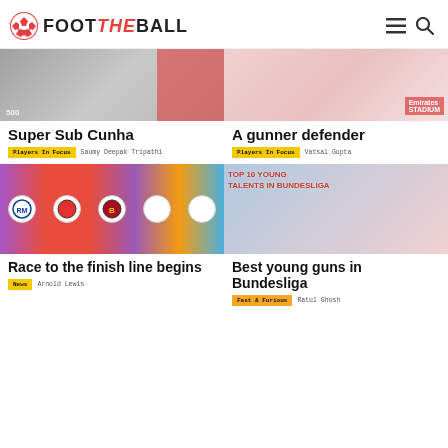FOOT THE BALL
[Figure (screenshot): Article thumbnail image - Super Sub Cunha, partially visible]
Super Sub Cunha
Players In Focus  Saumy Deepak Tripathi
[Figure (screenshot): Article thumbnail image - A gunner defender, Emirates stadium]
A gunner defender
Players In Focus  Vatsal Gupta
[Figure (screenshot): Article thumbnail - Race to the finish line begins, showing La Liga club crests]
Race to the finish line begins
News  Arnold Lewis
[Figure (screenshot): Article thumbnail - Best young guns in Bundesliga, Top 10 Young Talents in Bundesliga]
Best young guns in Bundesliga
Fast & Furious  Ratul Ghosh